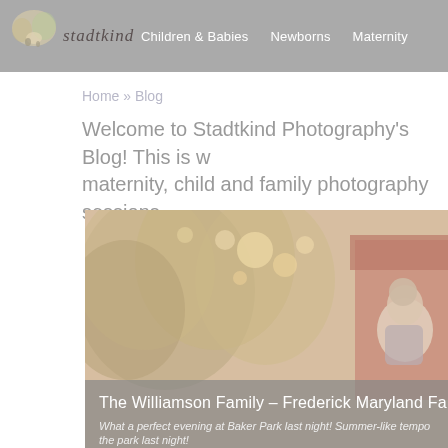stadtkind | Children & Babies | Newborns | Maternity
Home » Blog
Welcome to Stadtkind Photography's Blog! This is w... maternity, child and family photography sessions.
[Figure (photo): Outdoor family photo at Baker Park, muted warm tones, bokeh foliage background, person visible on right side near red barn structure]
The Williamson Family – Frederick Maryland Fa...
What a perfect evening at Baker Park last night! Summer-like tempo... the park last night!